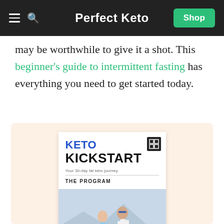Perfect Keto
may be worthwhile to give it a shot. This beginner's guide to intermittent fasting has everything you need to get started today.
[Figure (illustration): Keto Kickstart book cover with two runners on beach and 'GET RESULTS IN 30 DAYS' text below, shown in a light beige promotional box.]